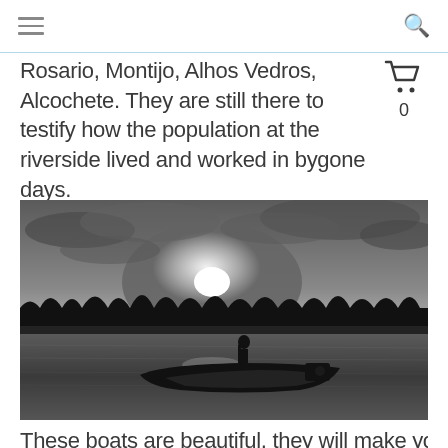Rosario, Montijo, Alhos Vedros, Alcochete. They are still there to testify how the population at the riverside lived and worked in bygone days.
[Figure (photo): Black and white photograph of a traditional wooden boat with a person on a river at sunset, silhouetted trees in the background and dramatic cloudy sky.]
These boats are beautiful, they will make you dream